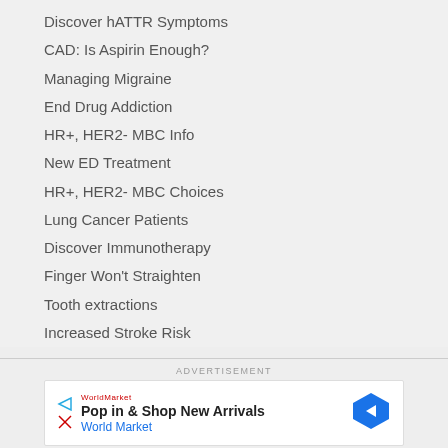Discover hATTR Symptoms
CAD: Is Aspirin Enough?
Managing Migraine
End Drug Addiction
HR+, HER2- MBC Info
New ED Treatment
HR+, HER2- MBC Choices
Lung Cancer Patients
Discover Immunotherapy
Finger Won't Straighten
Tooth extractions
Increased Stroke Risk
ADVERTISEMENT
Pop in & Shop New Arrivals
World Market